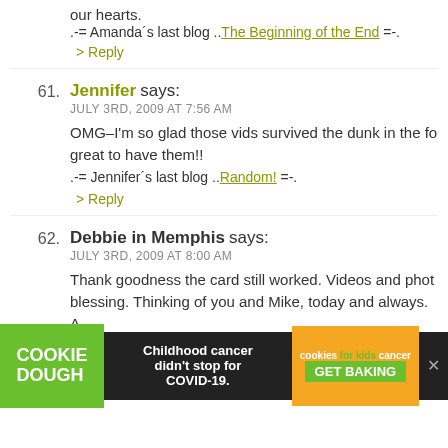our hearts.
.-= Amanda´s last blog ..The Beginning of the End =-.
> Reply
61. Jennifer says:
JULY 3RD, 2009 AT 7:56 AM
OMG–I'm so glad those vids survived the dunk in the fo great to have them!!
.-= Jennifer´s last blog ..Random! =-.
> Reply
62. Debbie in Memphis says:
JULY 3RD, 2009 AT 8:00 AM
Thank goodness the card still worked. Videos and phot blessing. Thinking of you and Mike, today and always. A
> Reply
63. Domestic Extraordinaire says:
[Figure (screenshot): Advertisement bar: Cookie Dough / Childhood cancer didn't stop for COVID-19. / cookies for kids cancer GET BAKING]